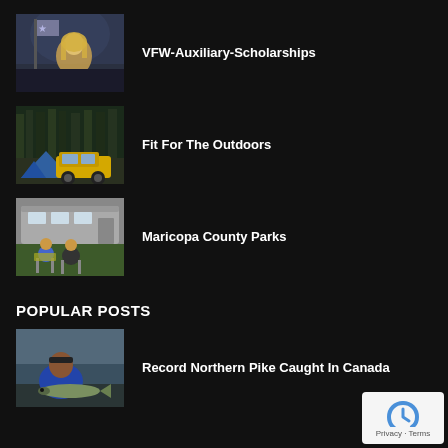VFW-Auxiliary-Scholarships
Fit For The Outdoors
Maricopa County Parks
POPULAR POSTS
Record Northern Pike Caught In Canada